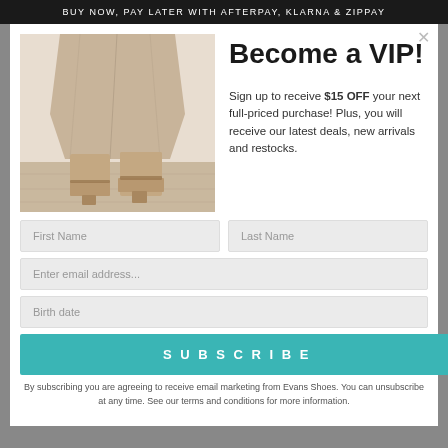BUY NOW, PAY LATER WITH AFTERPAY, KLARNA & ZIPPAY
[Figure (photo): Close-up photo of a person wearing a beige/tan midi skirt and tan leather ankle boots with a block heel, standing on a light wooden floor against a white wall.]
Become a VIP!
Sign up to receive $15 OFF your next full-priced purchase! Plus, you will receive our latest deals, new arrivals and restocks.
First Name
Last Name
Enter email address...
Birth date
SUBSCRIBE
By subscribing you are agreeing to receive email marketing from Evans Shoes. You can unsubscribe at any time. See our terms and conditions for more information.